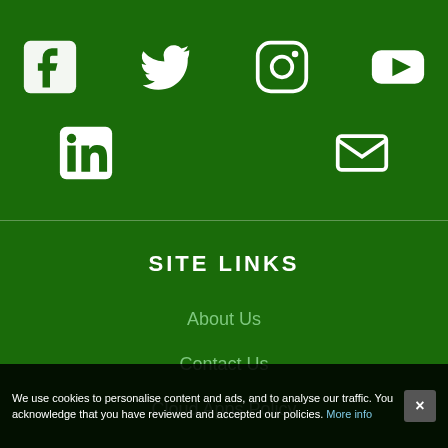[Figure (illustration): Social media icons in white on dark green background: Facebook, Twitter, Instagram, YouTube (top row), LinkedIn, Email (second row)]
SITE LINKS
About Us
Contact Us
Cloud Apps Policy
We use cookies to personalise content and ads, and to analyse our traffic. You acknowledge that you have reviewed and accepted our policies. More info